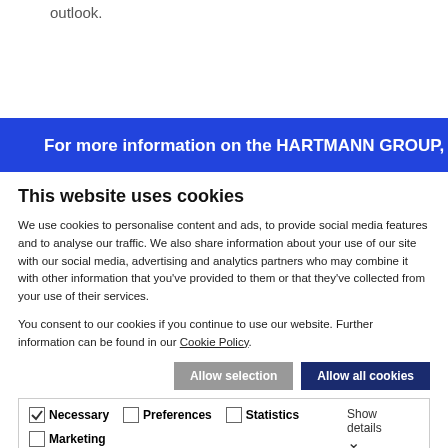outlook.
[Figure (screenshot): Blue banner reading: For more information on the HARTMANN GROUP,]
This website uses cookies
We use cookies to personalise content and ads, to provide social media features and to analyse our traffic. We also share information about your use of our site with our social media, advertising and analytics partners who may combine it with other information that you've provided to them or that they've collected from your use of their services.
You consent to our cookies if you continue to use our website. Further information can be found in our Cookie Policy.
Allow selection | Allow all cookies
Necessary  Preferences  Statistics  Marketing  Show details